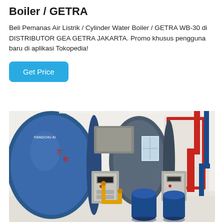Boiler / GETRA
Beli Pemanas Air Listrik / Cylinder Water Boiler / GETRA WB-30 di DISTRIBUTOR GEA GETRA JAKARTA. Promo khusus pengguna baru di aplikasi Tokopedia!
Get Price
[Figure (photo): Industrial boiler room with large blue cylindrical boilers, yellow gas pipes, red pipes on the wall, and blue cylindrical base units. Chinese text visible on the equipment. Multiple boiler units lined up in a white-walled facility.]